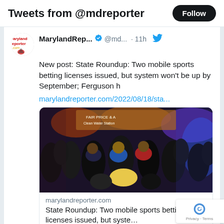Tweets from @mdreporter
MarylandRep... @md... · 11h
New post: State Roundup: Two mobile sports betting licenses issued, but system won't be up by September; Ferguson h
marylandreporter.com/2022/08/18/sta...
[Figure (photo): Photo of a crowd of people at an outdoor event at night with colorful lights and signage in the background]
marylandreporter.com
State Roundup: Two mobile sports betting licenses issued, but syste...